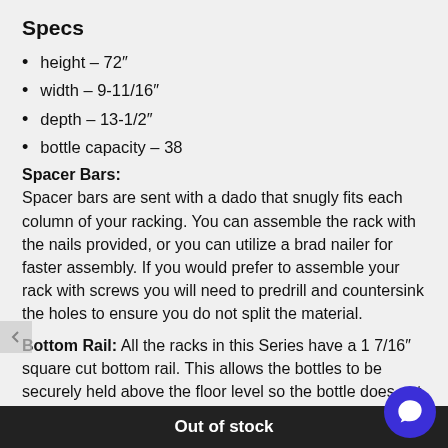Specs
height – 72″
width – 9-11/16″
depth – 13-1/2″
bottle capacity – 38
Spacer Bars: Spacer bars are sent with a dado that snugly fits each column of your racking. You can assemble the rack with the nails provided, or you can utilize a brad nailer for faster assembly. If you would prefer to assemble your rack with screws you will need to predrill and countersink the holes to ensure you do not split the material.
Bottom Rail: All the racks in this Series have a 1 7/16″ square cut bottom rail. This allows the bottles to be securely held above the floor level so the bottle does not break accidentally by hitting a floor. In addition, the base molding supplied wi
Out of stock